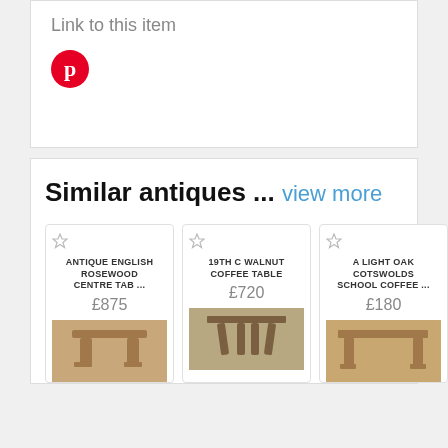Link to this item
[Figure (logo): Pinterest logo icon - red circle with white P]
Similar antiques ... view more
ANTIQUE ENGLISH ROSEWOOD CENTRE TAB ... £875
19TH C WALNUT COFFEE TABLE £720
A LIGHT OAK COTSWOLDS SCHOOL COFFEE ... £180